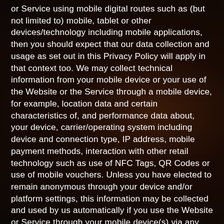or Service using mobile digital routes such as (but not limited to) mobile, tablet or other devices/technology including mobile applications, then you should expect that our data collection and usage as set out in this Privacy Policy will apply in that context too. We may collect technical information from your mobile device or your use of the Website or the Service through a mobile device, for example, location data and certain characteristics of, and performance data about, your device, carrier/operating system including device and connection type, IP address, mobile payment methods, interaction with other retail technology such as use of NFC Tags, QR Codes or use of mobile vouchers. Unless you have elected to remain anonymous through your device and/or platform settings, this information may be collected and used by us automatically if you use the Website or Service through your mobile device(s) via any FOODit mobile application, through your mobile's browser or otherwise.